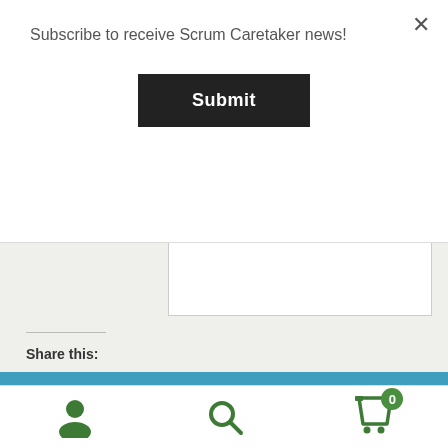Subscribe to receive Scrum Caretaker news!
Submit
Share this:
Have a wonderful summer. Check out some summer reading inspiration! Dismiss